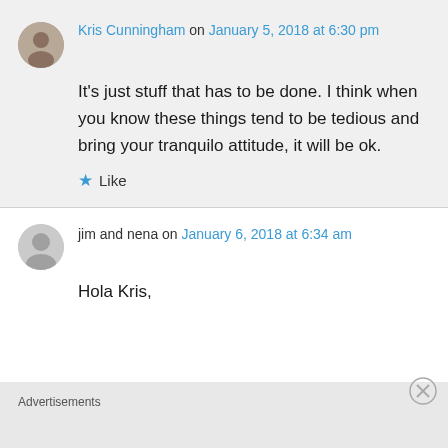Kris Cunningham on January 5, 2018 at 6:30 pm
It's just stuff that has to be done. I think when you know these things tend to be tedious and bring your tranquilo attitude, it will be ok.
★ Like
jim and nena on January 6, 2018 at 6:34 am
Hola Kris,
Advertisements